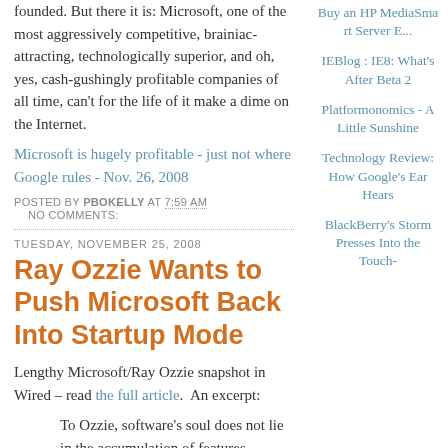founded. But there it is: Microsoft, one of the most aggressively competitive, brainiac-attracting, technologically superior, and oh, yes, cash-gushingly profitable companies of all time, can't for the life of it make a dime on the Internet.
Microsoft is hugely profitable - just not where Google rules - Nov. 26, 2008
POSTED BY PBOKELLY AT 7:59 AM  NO COMMENTS:
TUESDAY, NOVEMBER 25, 2008
Ray Ozzie Wants to Push Microsoft Back Into Startup Mode
Lengthy Microsoft/Ray Ozzie snapshot in Wired – read the full article.  An excerpt:
To Ozzie, software's soul does not lie in the accumulation of features. Instead, it lies in his dream of connectivity. "Live Mesh is very Ray," Mitch Kapor says. "It's the son of
Buy an HP MediaSmart Server E...
IEBlog : IE8: What's After Beta 2
Platformonomics - A Little Sunshine
Technology Review: How Google's Ear Hears
BlackBerry's Storm Presses Into the Touch-